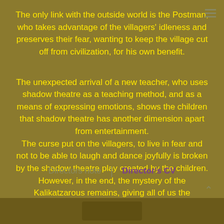The only link with the outside world is the Postman, who takes advantage of the villagers' idleness and preserves their fear, wanting to keep the village cut off from civilization, for his own benefit.
The unexpected arrival of a new teacher, who uses shadow theatre as a teaching method, and as a means of expressing emotions, shows the children that shadow theatre has another dimension apart from entertainment.
The curse put on the villagers, to live in fear and not to be able to laugh and dance joyfully is broken by the shadow theatre play created by the children.
However, in the end, the mystery of the Kalikatzarous remains, giving all of us the opportunity to interpret them in our own way.
Directors note | Director's CV
[Figure (photo): Partially visible image at the bottom of the page, appears to be a dark photographic image]